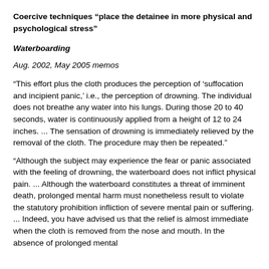Coercive techniques “place the detainee in more physical and psychological stress”
Waterboarding
Aug. 2002, May 2005 memos
“This effort plus the cloth produces the perception of ‘suffocation and incipient panic,’ i.e., the perception of drowning. The individual does not breathe any water into his lungs. During those 20 to 40 seconds, water is continuously applied from a height of 12 to 24 inches. ... The sensation of drowning is immediately relieved by the removal of the cloth. The procedure may then be repeated.”
“Although the subject may experience the fear or panic associated with the feeling of drowning, the waterboard does not inflict physical pain. ... Although the waterboard constitutes a threat of imminent death, prolonged mental harm must nonetheless result to violate the statutory prohibition infliction of severe mental pain or suffering. ... Indeed, you have advised us that the relief is almost immediate when the cloth is removed from the nose and mouth. In the absence of prolonged mental